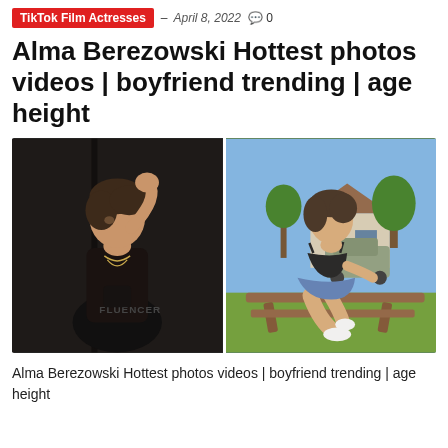TikTok Film Actresses – April 8, 2022  💬 0
Alma Berezowski Hottest photos videos | boyfriend trending | age height
[Figure (photo): Two side-by-side photos of Alma Berezowski. Left: dark studio photo, woman in black crop top with FLUENCER text, hand raised to head. Right: outdoor sunny photo, woman in black bikini top and denim skirt sitting on wooden picnic table with house and truck in background.]
Alma Berezowski Hottest photos videos | boyfriend trending | age height